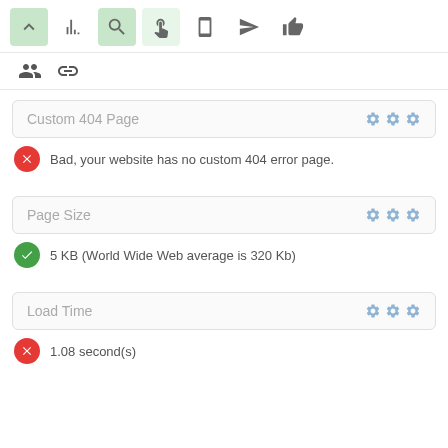[Figure (screenshot): Toolbar with navigation icons: up arrow (green background), bar chart, magnifying glass (green background), hand pointer (light green background), mobile phone, send/rocket, thumbs up]
[Figure (screenshot): Second toolbar row with people/group icon and chain link icon]
Custom 404 Page
Bad, your website has no custom 404 error page.
Page Size
5 KB (World Wide Web average is 320 Kb)
Load Time
1.08 second(s)